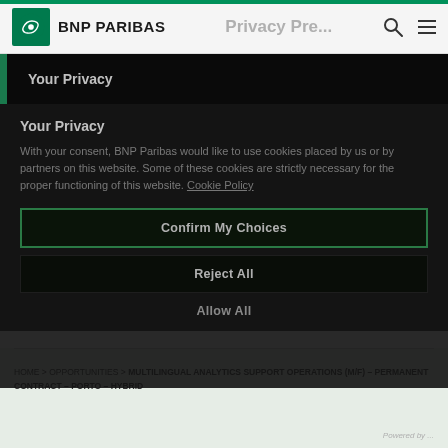BNP PARIBAS | Privacy Pre... [search] [menu]
Your Privacy
Your Privacy
With your consent, BNP Paribas would like to use cookies placed by us or by partners on this website. Some of these cookies are strictly necessary for the proper functioning of this website. Cookie Policy
Confirm My Choices
Reject All
Allow All
HOME > OPPORTUNITIES > MULTILINGUAL ANALYTICS SUPPORT OPERATIONS (M/F) – PERMANENT CONTRACT – PORTO – HYBRID